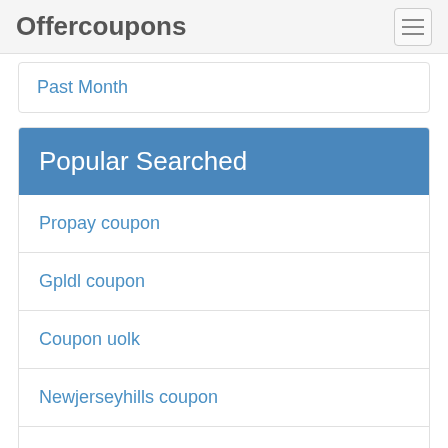Offercoupons
Past Month
Popular Searched
Propay coupon
Gpldl coupon
Coupon uolk
Newjerseyhills coupon